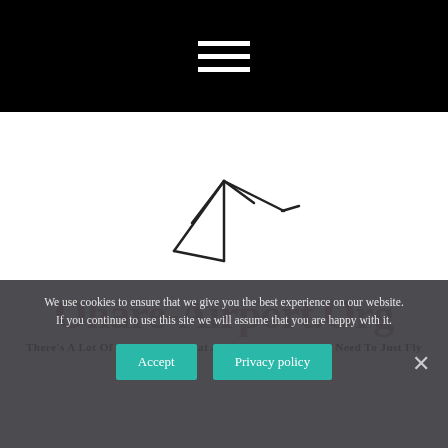Navigation menu (hamburger icon)
[Figure (logo): Ohare-Airport.Org logo: a stylized bird/arrow line drawing in black ink above the site name]
Ohare-Airport.Org
There's A Lot Of Us Out Here That Are Birds, Man. We All Need To Just Fly
We use cookies to ensure that we give you the best experience on our website. If you continue to use this site we will assume that you are happy with it.
Accept  Privacy policy